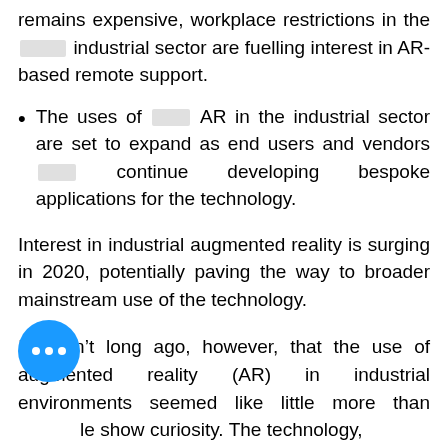remains expensive, workplace restrictions in the industrial sector are fuelling interest in AR-based remote support.
The uses of AR in the industrial sector are set to expand as end users and vendors continue developing bespoke applications for the technology.
Interest in industrial augmented reality is surging in 2020, potentially paving the way to broader mainstream use of the technology.
It wasn't long ago, however, that the use of augmented reality (AR) in industrial environments seemed like little more than le show curiosity. The technology, overlays computer-generated graphics on top of a user's view, had